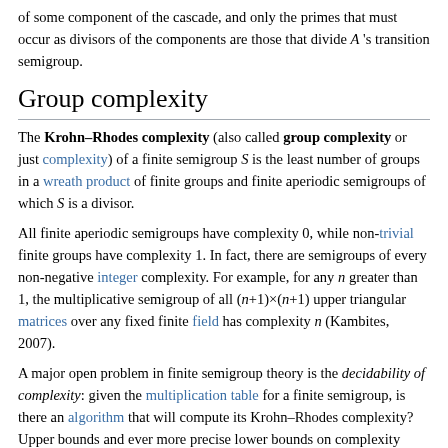of some component of the cascade, and only the primes that must occur as divisors of the components are those that divide A 's transition semigroup.
Group complexity
The Krohn–Rhodes complexity (also called group complexity or just complexity) of a finite semigroup S is the least number of groups in a wreath product of finite groups and finite aperiodic semigroups of which S is a divisor.
All finite aperiodic semigroups have complexity 0, while non-trivial finite groups have complexity 1. In fact, there are semigroups of every non-negative integer complexity. For example, for any n greater than 1, the multiplicative semigroup of all (n+1)×(n+1) upper triangular matrices over any fixed finite field has complexity n (Kambites, 2007).
A major open problem in finite semigroup theory is the decidability of complexity: given the multiplication table for a finite semigroup, is there an algorithm that will compute its Krohn–Rhodes complexity? Upper bounds and ever more precise lower bounds on complexity have been obtained (see, e.g., Rhodes & Steinberg, 2009). Rhodes